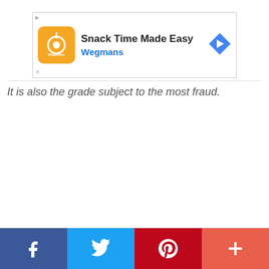[Figure (other): Advertisement banner for Wegmans: 'Snack Time Made Easy' with Wegmans logo and navigation arrow icon]
It is also the grade subject to the most fraud.
[Figure (infographic): Social media share buttons bar at bottom: Facebook (blue), Twitter (light blue), Pinterest (red), More/plus (coral-red)]